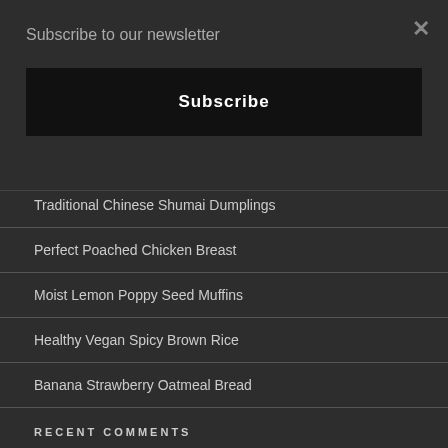Subscribe to our newsletter
Subscribe
Traditional Chinese Shumai Dumplings
Perfect Poached Chicken Breast
Moist Lemon Poppy Seed Muffins
Healthy Vegan Spicy Brown Rice
Banana Strawberry Oatmeal Bread
RECENT COMMENTS
Cynthia on Pampered Chef Deluxe Air Fryer – Is it Worth